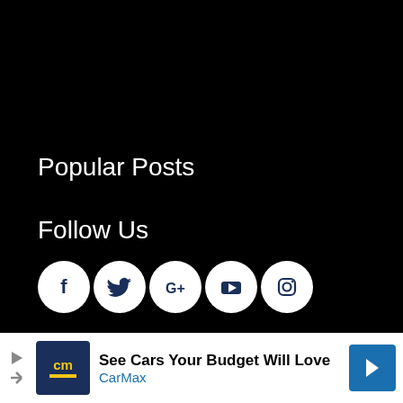Popular Posts
Follow Us
[Figure (illustration): Row of five social media icon circles (Facebook, Twitter, Google+, YouTube, Instagram) in white on black background]
[Figure (illustration): Advertisement banner for CarMax: 'See Cars Your Budget Will Love' with CarMax logo and blue arrow icon]